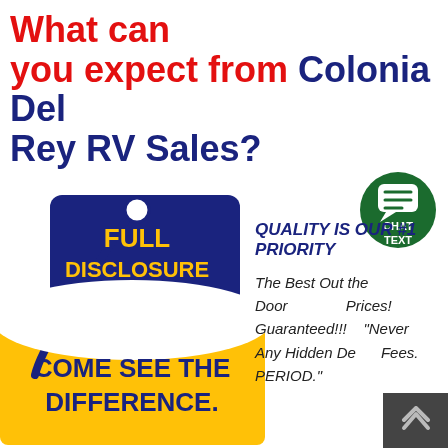What can you expect from Colonia Del Rey RV Sales?
[Figure (illustration): Price tag graphic with blue tag reading 'FULL DISCLOSURE PRICING' in yellow text, yellow background at bottom reading 'COME SEE THE DIFFERENCE.' in blue text]
[Figure (illustration): Green circular chat/text button with speech bubble icon labeled CHAT TEXT]
QUALITY IS OUR #1 PRIORITY
The Best Out the Door Prices! Guaranteed!!! "Never Any Hidden Dealer Fees. PERIOD."